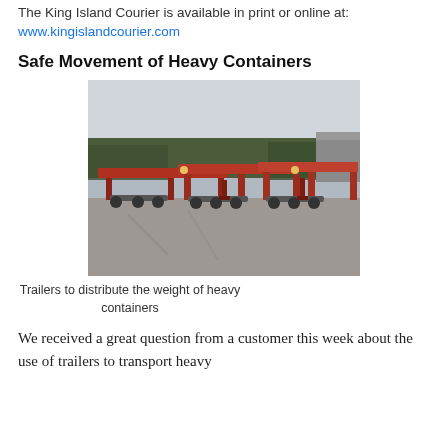The King Island Courier is available in print or online at: www.kingislandcourier.com
Safe Movement of Heavy Containers
[Figure (photo): Red flatbed/skeletal trailers parked on gravel, used to distribute the weight of heavy containers. Trees and a building visible in background under overcast sky.]
Trailers to distribute the weight of heavy containers
We received a great question from a customer this week about the use of trailers to transport heavy